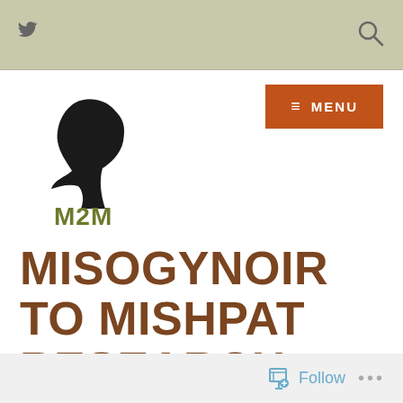Twitter icon | Search icon
[Figure (logo): M2M logo — black silhouette of a woman's face profile, with 'M2M' text below in olive green]
≡ MENU
MISOGYNOIR TO MISHPAT RESEARCH NETWORK
Follow ...